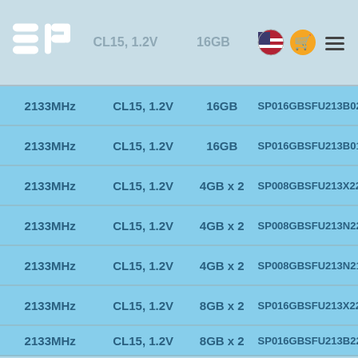SP | CL15, 1.2V | 16GB
| Speed | Timing/Voltage | Capacity | Part Number |
| --- | --- | --- | --- |
| 2133MHz | CL15, 1.2V | 16GB | SP016GBSFU213B02 |
| 2133MHz | CL15, 1.2V | 16GB | SP016GBSFU213B01 |
| 2133MHz | CL15, 1.2V | 4GB x 2 | SP008GBSFU213X22 |
| 2133MHz | CL15, 1.2V | 4GB x 2 | SP008GBSFU213N22 |
| 2133MHz | CL15, 1.2V | 4GB x 2 | SP008GBSFU213N21 |
| 2133MHz | CL15, 1.2V | 8GB x 2 | SP016GBSFU213X22 |
| 2133MHz | CL15, 1.2V | 8GB x 2 | SP016GBSFU213B22 |